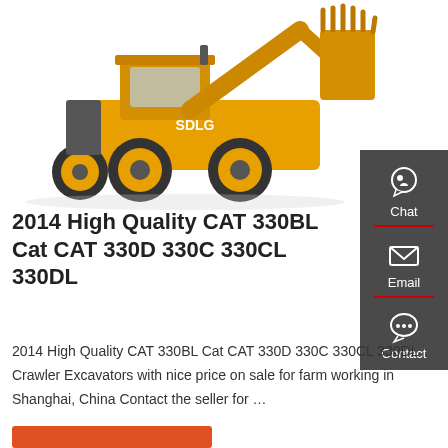[Figure (photo): Yellow SDLG wheel loader with large front bucket attachment, shown on white background]
[Figure (infographic): Dark gray sidebar with Chat (headset icon), Email (envelope icon), and Contact (speech bubble icon) options separated by red dividers]
2014 High Quality CAT 330BL Cat CAT 330D 330C 330CL 330DL
2014 High Quality CAT 330BL Cat CAT 330D 330C 330CL 330DL Crawler Excavators with nice price on sale for farm working in Shanghai, China Contact the seller for …